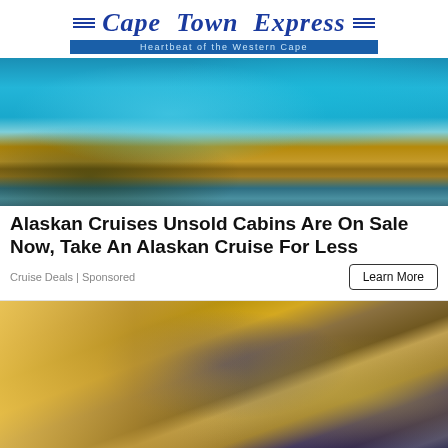[Figure (logo): Cape Town Express newspaper logo with blue italic text and horizontal lines, subtitle 'Heartbeat of the Western Cape']
[Figure (photo): Aerial view of a cruise ship pool deck with blue pool, wooden surround, and passengers on deck chairs]
Alaskan Cruises Unsold Cabins Are On Sale Now, Take An Alaskan Cruise For Less
Cruise Deals | Sponsored
[Figure (photo): Close-up of a grocery store shopping cart in front of blurred store shelves with food products]